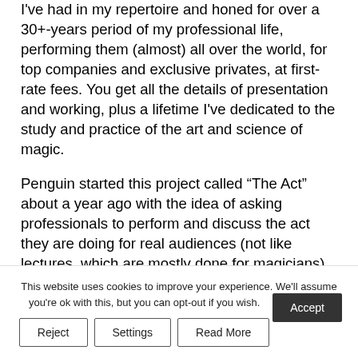I've had in my repertoire and honed for over a 30+-years period of my professional life, performing them (almost) all over the world, for top companies and exclusive privates, at first-rate fees. You get all the details of presentation and working, plus a lifetime I've dedicated to the study and practice of the art and science of magic.
Penguin started this project called “The Act” about a year ago with the idea of asking professionals to perform and discuss the act they are doing for real audiences (not like lectures, which are mostly done for magicians). Only few have abided by this rule, preferring not to tip what they
This website uses cookies to improve your experience. We'll assume you're ok with this, but you can opt-out if you wish.